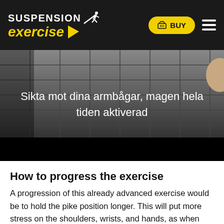SUSPENSION exercise — BUY
[Figure (screenshot): Video screenshot of a gym floor with text overlay reading: Sikta mot dina armbågar, magen hela tiden aktiverad]
Sikta mot dina armbågar, magen hela tiden aktiverad
How to progress the exercise
A progression of this already advanced exercise would be to hold the pike position longer. This will put more stress on the shoulders, wrists, and hands, as when holding a handstand. Try placing your hands on a